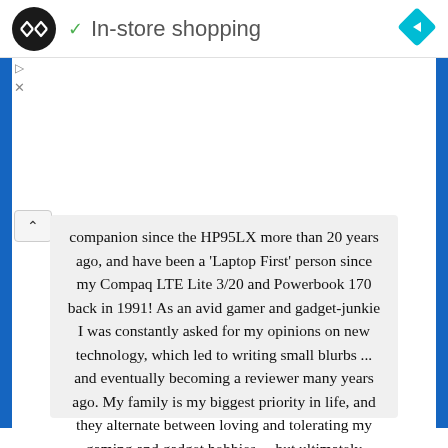✓ In-store shopping
companion since the HP95LX more than 20 years ago, and have been a 'Laptop First' person since my Compaq LTE Lite 3/20 and Powerbook 170 back in 1991! As an avid gamer and gadget-junkie I was constantly asked for my opinions on new technology, which led to writing small blurbs ... and eventually becoming a reviewer many years ago. My family is my biggest priority in life, and they alternate between loving and tolerating my gaming and gadget hobbies ... but ultimately benefits from the addition of technology to our lives!